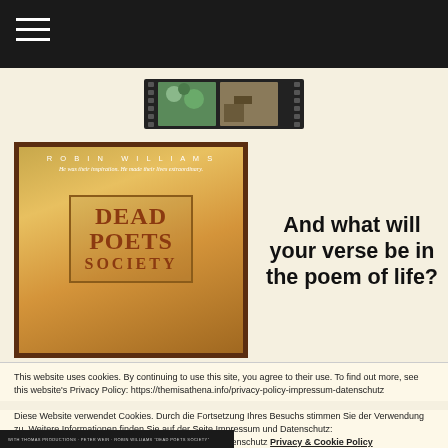Navigation bar with hamburger menu
[Figure (photo): Film strip thumbnail image at top of page]
[Figure (photo): Dead Poets Society movie poster featuring Robin Williams. Text: 'ROBIN WILLIAMS', 'He was their inspiration. He made their lives extraordinary.', 'DEAD POETS SOCIETY']
And what will your verse be in the poem of life?
This website uses cookies. By continuing to use this site, you agree to their use. To find out more, see this website's Privacy Policy: https://themisathena.info/privacy-policy-impressum-datenschutz
Diese Website verwendet Cookies. Durch die Fortsetzung Ihres Besuchs stimmen Sie der Verwendung zu. Weitere Informationen finden Sie auf der Seite Impressum und Datenschutz: https://themisathena.info/privacy-policy-impressum-datenschutz Privacy & Cookie Policy
Close and accept
[Figure (photo): Bottom film credit bar: 'WITH THOMAS PRODUCTIONS + PETER WEIR + ROBIN WILLIAMS "DEAD POETS SOCIETY"']